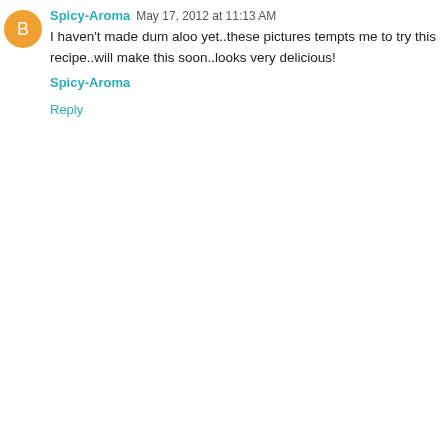Spicy-Aroma May 17, 2012 at 11:13 AM
I haven't made dum aloo yet..these pictures tempts me to try this recipe..will make this soon..looks very delicious!
Spicy-Aroma
Reply